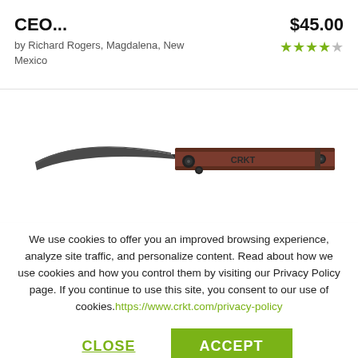CEO...
by Richard Rogers, Magdalena, New Mexico
$45.00
[Figure (other): Star rating: 4.5 out of 5 stars shown as gold/green stars]
[Figure (photo): CRKT CEO folding knife with dark grey blade and reddish-brown handle on white background]
We use cookies to offer you an improved browsing experience, analyze site traffic, and personalize content. Read about how we use cookies and how you control them by visiting our Privacy Policy page. If you continue to use this site, you consent to our use of cookies.https://www.crkt.com/privacy-policy
CLOSE
ACCEPT